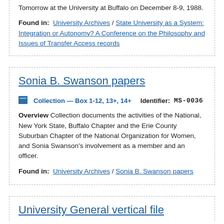Tomorrow at the University at Buffalo on December 8-9, 1988.
Found in: University Archives / State University as a System: Integration or Autonomy? A Conference on the Philosophy and Issues of Transfer Access records
Sonia B. Swanson papers
Collection — Box 1-12, 13+, 14+   Identifier: MS-0036
Overview Collection documents the activities of the National, New York State, Buffalo Chapter and the Erie County Suburban Chapter of the National Organization for Women, and Sonia Swanson's involvement as a member and an officer.
Found in: University Archives / Sonia B. Swanson papers
University General vertical file